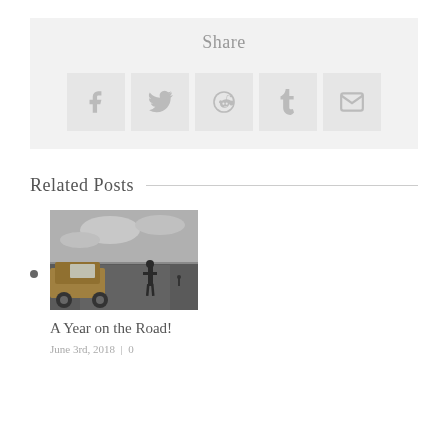Share
[Figure (infographic): Five social share icon buttons: Facebook, Twitter, Reddit, Tumblr, Email — displayed as grey square boxes with light grey icons]
Related Posts
[Figure (photo): A moody dark road scene with a person standing in the road and a yellow 4WD vehicle on the left, overcast sky]
A Year on the Road!
June 3rd, 2018  |  0